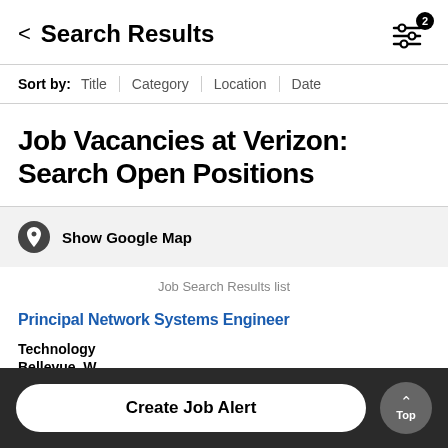< Search Results
Sort by: Title | Category | Location | Date
Job Vacancies at Verizon: Search Open Positions
Show Google Map
Job Search Results list
Principal Network Systems Engineer
Technology
Bellevue, W
2022-08-26
Create Job Alert